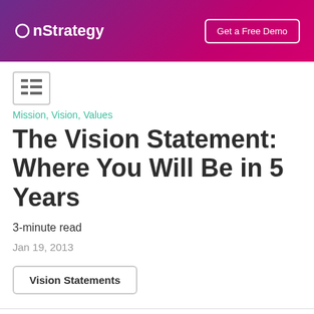OnStrategy | Get a Free Demo
Mission, Vision, Values
The Vision Statement: Where You Will Be in 5 Years
3-minute read
Jan 19, 2013
Vision Statements